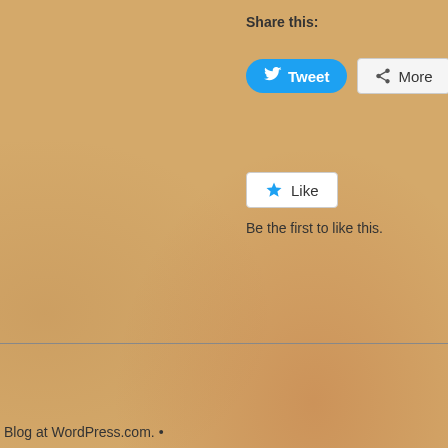Share this:
[Figure (screenshot): Tweet button (blue rounded) and More button (grey) for sharing]
[Figure (screenshot): Like button with star icon]
Be the first to like this.
Blog at WordPress.com.